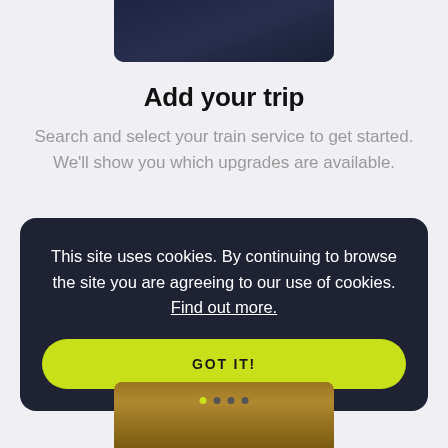[Figure (screenshot): Top portion of a mobile phone screen showing a dark navy background]
Add your trip
Search and select your train service to get started. We'll show you which upgrades are available.
This site uses cookies. By continuing to browse the site you are agreeing to our use of cookies. Find out more.
GOT IT!
[Figure (screenshot): Bottom portion of a mobile phone screen showing a wooden surface with navigation dots]